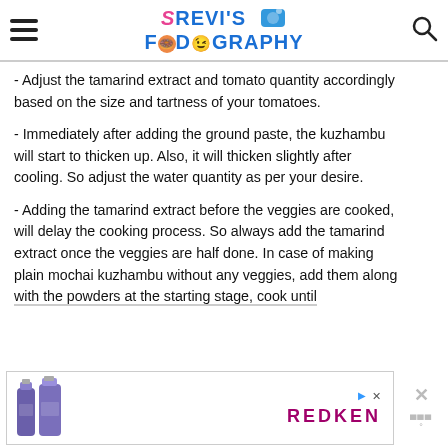Srevi's Foodography
- Adjust the tamarind extract and tomato quantity accordingly based on the size and tartness of your tomatoes.
- Immediately after adding the ground paste, the kuzhambu will start to thicken up. Also, it will thicken slightly after cooling. So adjust the water quantity as per your desire.
- Adding the tamarind extract before the veggies are cooked, will delay the cooking process. So always add the tamarind extract once the veggies are half done. In case of making plain mochai kuzhambu without any veggies, add them along with the powders at the starting stage, cook until
[Figure (screenshot): Advertisement banner for Redken hair products showing two purple product bottles with Redken logo and ad controls]